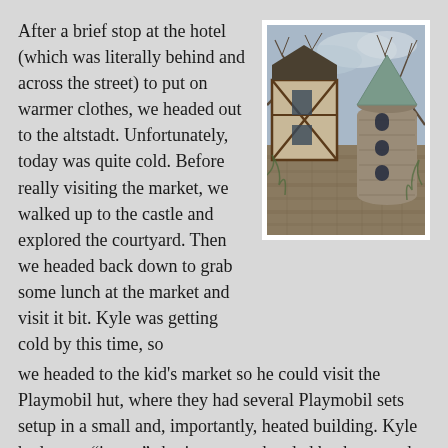After a brief stop at the hotel (which was literally behind and across the street) to put on warmer clothes, we headed out to the altstadt. Unfortunately, today was quite cold. Before really visiting the market, we walked up to the castle and explored the courtyard. Then we headed back down to grab some lunch at the market and visit it bit. Kyle was getting cold by this time, so we headed to the kid's market so he could visit the Playmobil hut, where they had several Playmobil sets setup in a small and, importantly, heated building. Kyle had some “issues” sharing, so we headed back out to the walk through the entire market, which we hadn’t yet done. Kyle was doing better by this time, but getting cold, so it was back to Playmobil for another 30 minutes or so. By now, it was getting late, so we headed away from the market, stopping at the department store so Kyle could spend some of the money Mary Lou sent and so we could pick up a few groceries. Back at the hotel, I asked for a recommendation for somewhere close by which would be good for kids. They didn’t really have one, so we headed out to a place I had found on TripAdvisor that was back in the Altstadt, though only about 10
[Figure (photo): Photo of a medieval castle with a half-timbered tower and a round stone tower with a conical roof, surrounded by bare tree branches against a cloudy sky.]